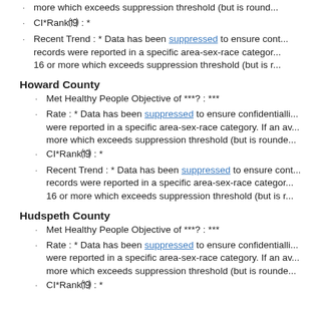more which exceeds suppression threshold (but is round...
CI*Rank⒆ : *
Recent Trend : * Data has been suppressed to ensure conf... records were reported in a specific area-sex-race category. 16 or more which exceeds suppression threshold (but is r...
Howard County
Met Healthy People Objective of ***? : ***
Rate : * Data has been suppressed to ensure confidentiality... were reported in a specific area-sex-race category. If an av... more which exceeds suppression threshold (but is rounde...
CI*Rank⒆ : *
Recent Trend : * Data has been suppressed to ensure cont... records were reported in a specific area-sex-race category. 16 or more which exceeds suppression threshold (but is r...
Hudspeth County
Met Healthy People Objective of ***? : ***
Rate : * Data has been suppressed to ensure confidentiality... were reported in a specific area-sex-race category. If an av... more which exceeds suppression threshold (but is rounde...
CI*Rank⒆ : *